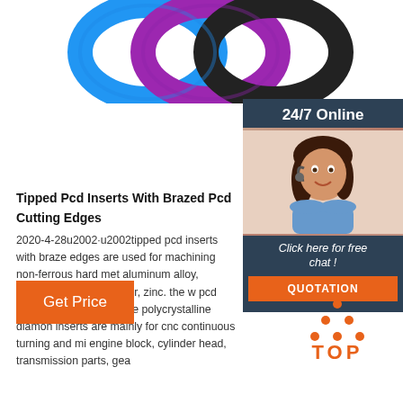[Figure (photo): Three colorful wristbands/rings in blue, purple, and black, partially visible at the top of the page]
[Figure (photo): 24/7 Online customer service chat box widget with a photo of a smiling woman with headset, 'Click here for free chat!' text, and an orange QUOTATION button]
Tipped Pcd Inserts With Brazed Pcd Cutting Edges
2020-4-28u2002·u2002tipped pcd inserts with brazed edges are used for machining non-ferrous hard met aluminum alloy, tungsten carbide, copper, zinc. the w pcd inserts are made by pure polycrystalline diamon inserts are mainly for cnc continuous turning and mi engine block, cylinder head, transmission parts, gea
[Figure (other): Orange 'Get Price' button]
[Figure (logo): Orange 'TOP' logo with dots forming a triangle above the text]